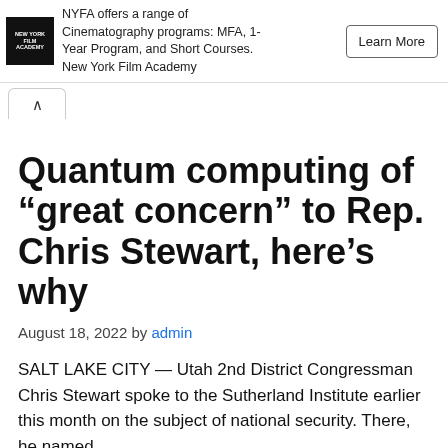[Figure (logo): New York Film Academy logo - black square with white text]
NYFA offers a range of Cinematography programs: MFA, 1-Year Program, and Short Courses. New York Film Academy
Learn More
Quantum computing of “great concern” to Rep. Chris Stewart, here’s why
August 18, 2022 by admin
SALT LAKE CITY — Utah 2nd District Congressman Chris Stewart spoke to the Sutherland Institute earlier this month on the subject of national security. There, he named